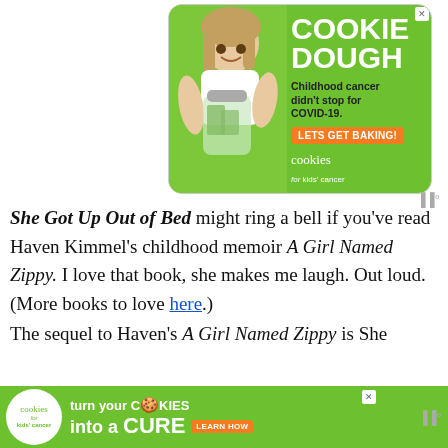[Figure (photo): Advertisement banner for Cookies for Kids' Cancer. Green background with a young girl holding a jar of money. Large white text reads COOKIE DOUGH. Text: Childhood cancer didn't stop for COVID-19. Orange button: LETS GET BAKING! cookies for kids' cancer logo.]
She Got Up Out of Bed might ring a bell if you've read Haven Kimmel's childhood memoir A Girl Named Zippy. I love that book, she makes me laugh. Out loud. (More books to love here.) The sequel to Haven's A Girl Named Zippy is She
[Figure (photo): Bottom advertisement banner for Cookies for Kids' Cancer. Green background. Logo on left. Text: turn your COOKIES into a CURE LEARN HOW]